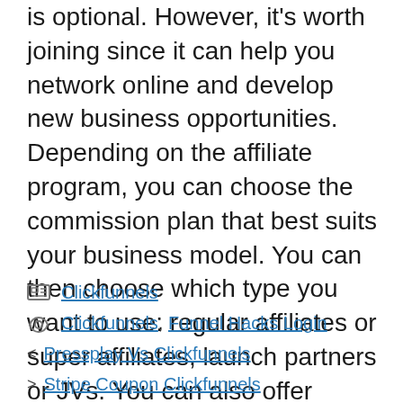The affiliate program offered by ClickFunnels is optional. However, it's worth joining since it can help you network online and develop new business opportunities. Depending on the affiliate program, you can choose the commission plan that best suits your business model. You can then choose which type you want to use: regular affiliates or super affiliates, launch partners or JVs. You can also offer specific commission types to affiliates if you promote different products.
Clickfunnels
Clickfunnels, Funnel Hacks Login
Pressplay Vs Clickfunnels
Stripe Coupon Clickfunnels